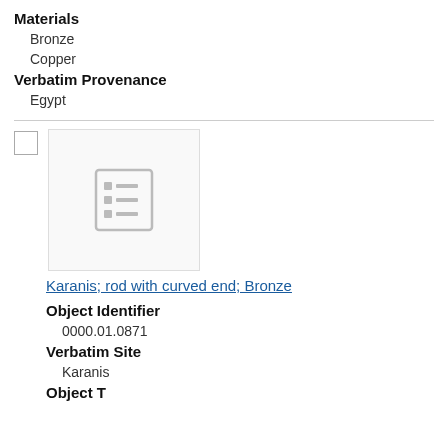Materials
Bronze
Copper
Verbatim Provenance
Egypt
[Figure (illustration): Placeholder thumbnail image with a list/document icon in grey]
Karanis; rod with curved end; Bronze
Object Identifier
0000.01.0871
Verbatim Site
Karanis
Object Type